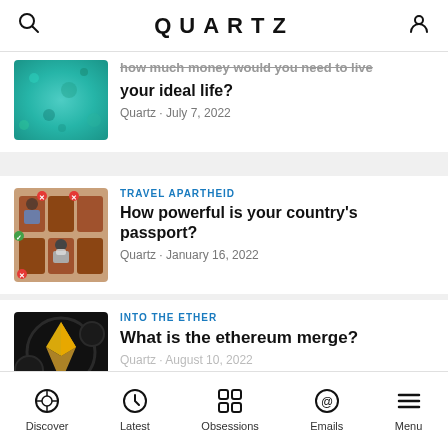QUARTZ
[Figure (photo): Teal/turquoise abstract texture thumbnail for article about ideal life money]
How much money would you need to live your ideal life?
Quartz · July 7, 2022
[Figure (photo): People seated in an airplane or auditorium with X and checkmark markers, some wearing masks]
TRAVEL APARTHEID
How powerful is your country's passport?
Quartz · January 16, 2022
[Figure (photo): Cryptocurrency coins on dark background, Ethereum logo visible]
INTO THE ETHER
What is the ethereum merge?
Quartz · August 10, 2022
Discover · Latest · Obsessions · Emails · Menu